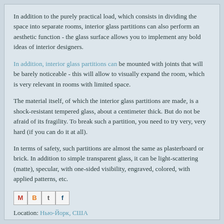In addition to the purely practical load, which consists in dividing the space into separate rooms, interior glass partitions can also perform an aesthetic function - the glass surface allows you to implement any bold ideas of interior designers.
In addition, interior glass partitions can be mounted with joints that will be barely noticeable - this will allow to visually expand the room, which is very relevant in rooms with limited space.
The material itself, of which the interior glass partitions are made, is a shock-resistant tempered glass, about a centimeter thick. But do not be afraid of its fragility. To break such a partition, you need to try very, very hard (if you can do it at all).
In terms of safety, such partitions are almost the same as plasterboard or brick. In addition to simple transparent glass, it can be light-scattering (matte), specular, with one-sided visibility, engraved, colored, with applied patterns, etc.
[Figure (other): Social sharing icons: Gmail (M), Blogger (B), Twitter (t), Facebook (f)]
Location: Нью-Йорк, США